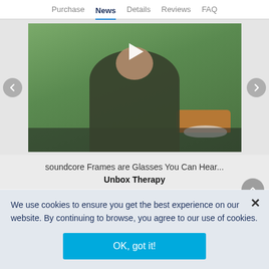Purchase  News  Details  Reviews  FAQ
[Figure (screenshot): Video thumbnail showing a man in a green hoodie with a beard, standing in front of a green wall with an orange sofa and white coffee table in background. A white play button triangle is overlaid at center top.]
soundcore Frames are Glasses You Can Hear...
Unbox Therapy
We use cookies to ensure you get the best experience on our website. By continuing to browse, you agree to our use of cookies.
OK, got it!